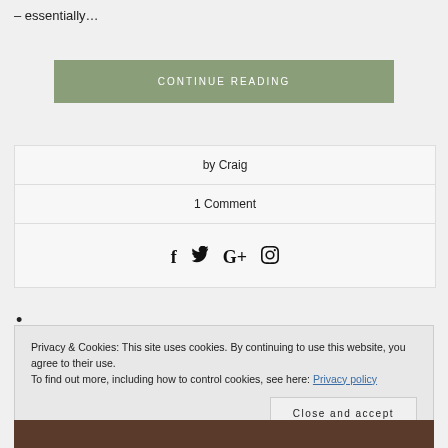– essentially…
CONTINUE READING
| by Craig |
| 1 Comment |
| [social icons: f, twitter, G+, pinterest] |
•
Privacy & Cookies: This site uses cookies. By continuing to use this website, you agree to their use.
To find out more, including how to control cookies, see here: Privacy policy
Close and accept
[Figure (photo): Bottom image partially visible]